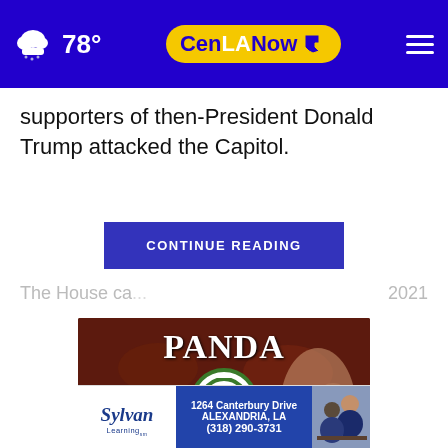78° CenLANow
supporters of then-President Donald Trump attacked the Capitol.
CONTINUE READING
The House ca... 2021
[Figure (photo): Panda Buffet advertisement with panda logo on dark red background]
[Figure (logo): Sylvan Learning advertisement: 1264 Canterbury Drive, Alexandria, LA, (318) 290-3731]